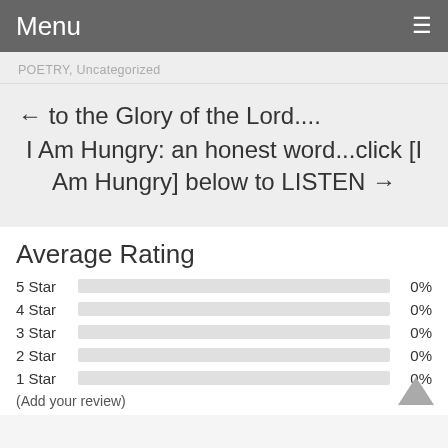Menu
POETRY, Uncategorized
← to the Glory of the Lord....
I Am Hungry: an honest word...click [I Am Hungry] below to LISTEN →
Average Rating
5 Star 0%
4 Star 0%
3 Star 0%
2 Star 0%
1 Star 0%
(Add your review)